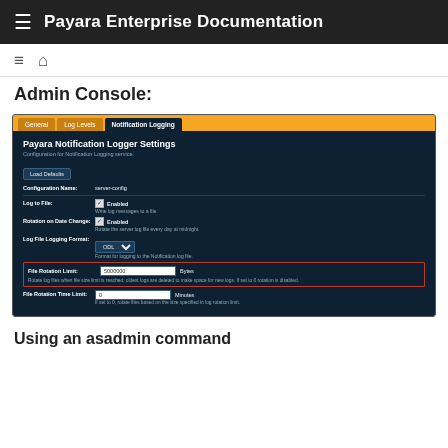Payara Enterprise Documentation
Admin Console:
[Figure (screenshot): Screenshot of Payara Admin Console showing Payara Notification Logger Settings page with tabs: General, Log Levels, Notification Logging. Fields shown: Configuration Name: server-config, Log to File (Enabled checkbox), Rotation on Date Change (Enabled checkbox), Log File Logging Format: ODL dropdown, File Rotation Limit: 5000000 Bytes (highlighted in red border), File Rotation Time Limit: 0 Minutes.]
Using an asadmin command